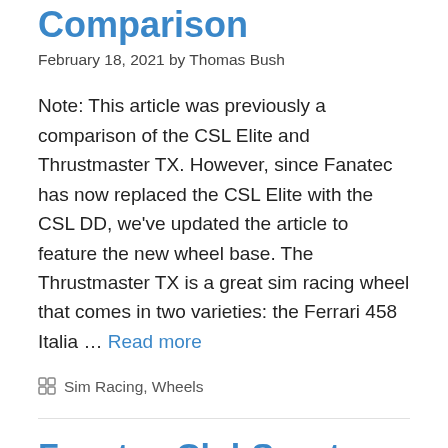Comparison
February 18, 2021 by Thomas Bush
Note: This article was previously a comparison of the CSL Elite and Thrustmaster TX. However, since Fanatec has now replaced the CSL Elite with the CSL DD, we've updated the article to feature the new wheel base. The Thrustmaster TX is a great sim racing wheel that comes in two varieties: the Ferrari 458 Italia … Read more
Sim Racing, Wheels
Fanatec ClubSport V2.5 : Best Belt Driven Wheel?